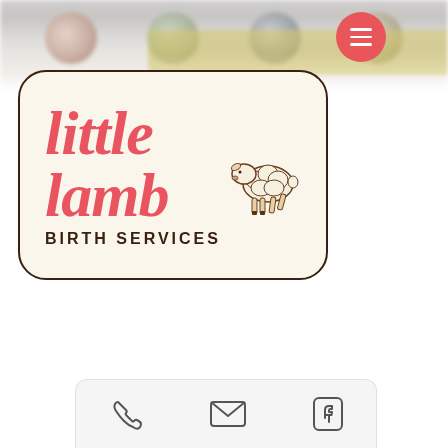[Figure (screenshot): Top navigation bar area with blurred background showing circular navigation elements and a yellow strip, partially visible website header]
[Figure (logo): Little Lamb Birth Services logo — script text 'little lamb' in coral/red color with a sketched lamb illustration, and 'BIRTH SERVICES' in uppercase below, all inside a rounded rectangle with a cream/beige background and dark brown border]
[Figure (screenshot): Mobile website bottom navigation bar with phone, email, and Facebook icons on a light grey background]